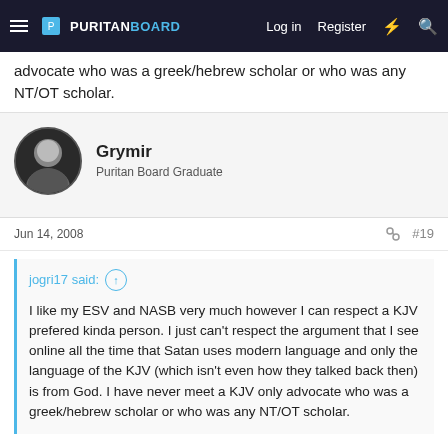Puritan Board — Log in | Register
advocate who was a greek/hebrew scholar or who was any NT/OT scholar.
Grymir
Puritan Board Graduate
Jun 14, 2008   #19
jogri17 said:
I like my ESV and NASB very much however I can respect a KJV prefered kinda person. I just can't respect the argument that I see online all the time that Satan uses modern language and only the language of the KJV (which isn't even how they talked back then) is from God. I have never meet a KJV only advocate who was a greek/hebrew scholar or who was any NT/OT scholar.